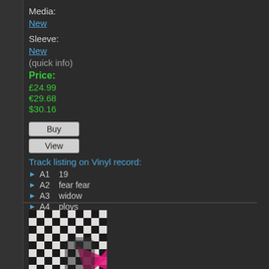Media:
New
Sleeve:
New
(quick info)
Price:
£24.99
€29.68
$30.16
Buy
View
Track listing on Vinyl record:
A1  19
A2  fear fear
A3  widow
A4  ploys
[Figure (photo): Album cover artwork with black and white pattern and pink/magenta graphic design element]